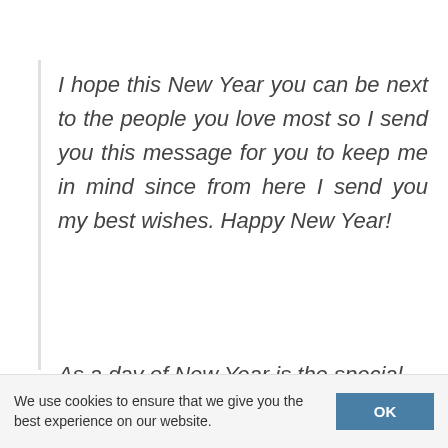I hope this New Year you can be next to the people you love most so I send you this message for you to keep me in mind since from here I send you my best wishes. Happy New Year!
As a day of New Year is the special
We use cookies to ensure that we give you the best experience on our website. OK